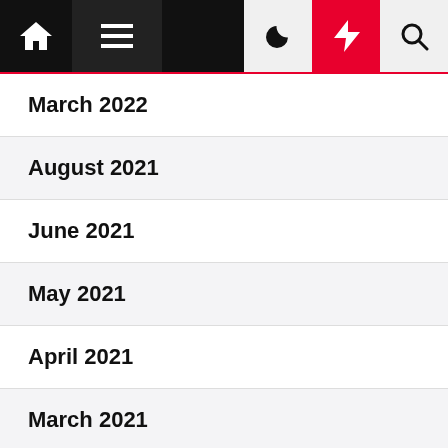Navigation bar with home, menu, moon, bolt, and search icons
March 2022
August 2021
June 2021
May 2021
April 2021
March 2021
February 2021
January 2021
December 2020
November 2020